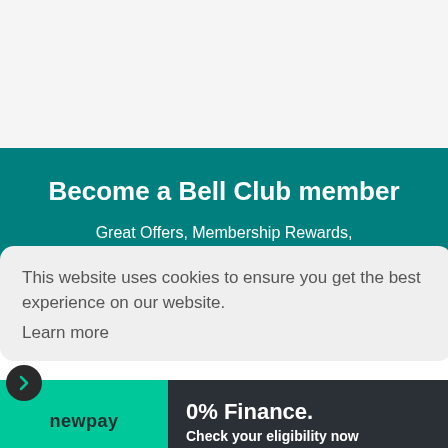Become a Bell Club member
Great Offers, Membership Rewards, Exclusive Invites and Up to date news.
This website uses cookies to ensure you get the best experience on our website. Learn more
[Figure (logo): newpay logo on green background with 0% Finance. Check your eligibility now text on dark background]
About Bell